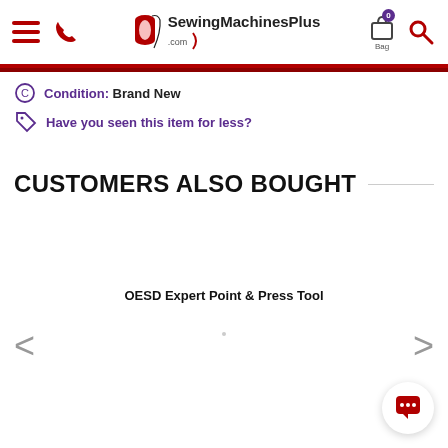SewingMachinesPlus.com — navigation header with hamburger menu, phone icon, logo, bag (0), and search icon
Condition: Brand New
Have you seen this item for less?
CUSTOMERS ALSO BOUGHT
OESD Expert Point & Press Tool